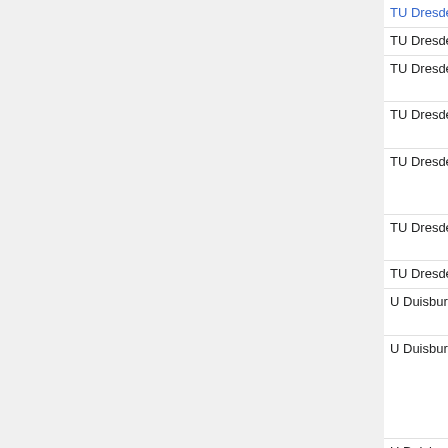| Institution | Subject | Date | Name |
| --- | --- | --- | --- |
| TU Dresden | (diff) geom (W3) | Jun 30, 2010 | Th... |
| TU Dresden | algebra (W3) | Oct 16, 2012 |  |
| TU Dresden | numer anal (W2) | Oct 16, 2012 | Ma... [52... |
| TU Dresden | PDE (W2) | Oct 16, 2012 | Pe... Ho... |
| TU Dresden | all (10 tt) | May 15, 2013 | Ma... Ke... Re... |
| TU Dresden | algebra, disc (W3) | May 24, 2013 | Ma... Bo... |
| TU Dresden | num PDE (W3) | Oct 15, 2013 |  |
| U Duisburg-Essen | algebra (W3) | May 20, 2011 | Gu... [55... |
| U Duisburg-Essen | arith geom (W2) | Oct 13, 2011 | Ma... Be... Ja... Ko... [57... |
| U Duisburg- | numerics (W2) | Nov 26, 2012 | Jo... |